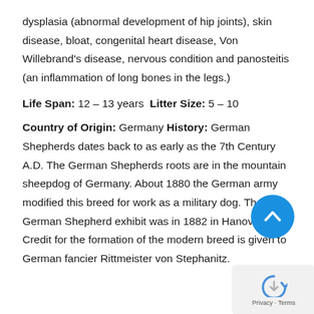dysplasia (abnormal development of hip joints), skin disease, bloat, congenital heart disease, Von Willebrand's disease, nervous condition and panosteitis (an inflammation of long bones in the legs.)
Life Span: 12 – 13 years Litter Size: 5 – 10
Country of Origin: Germany History: German Shepherds dates back to as early as the 7th Century A.D. The German Shepherds roots are in the mountain sheepdog of Germany. About 1880 the German army modified this breed for work as a military dog. The first German Shepherd exhibit was in 1882 in Hanover. Credit for the formation of the modern breed is given to German fancier Rittmeister von Stephanitz.